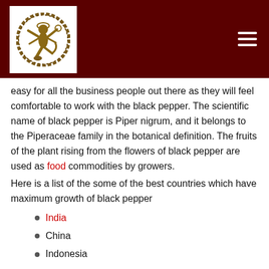[Header with Nataraja logo and hamburger menu on dark red background]
easy for all the business people out there as they will feel comfortable to work with the black pepper. The scientific name of black pepper is Piper nigrum, and it belongs to the Piperaceae family in the botanical definition. The fruits of the plant rising from the flowers of black pepper are used as food commodities by growers.
Here is a list of the some of the best countries which have maximum growth of black pepper
India
China
Indonesia